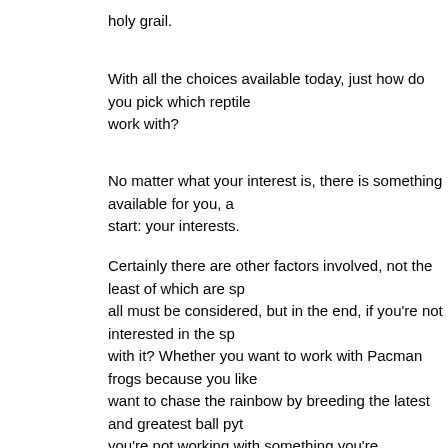holy grail.
With all the choices available today, just how do you pick which reptile to work with?
No matter what your interest is, there is something available for you, and the best place to start: your interests.
Certainly there are other factors involved, not the least of which are space and money. These all must be considered, but in the end, if you're not interested in the species, why work with it? Whether you want to work with Pacman frogs because you like their look, or you want to chase the rainbow by breeding the latest and greatest ball python morphs, if you're not working with something you're interested in, you might as well collect stamps instead.
My interests have been, and always will be, kingsnakes and milk snakes. Not only does it happens to be the "branding" chosen for this web site long long ago, it's what I enjoy working by breeding kingsnakes and milk snakes. With relatively easy care requirements, a wealth of species, sub-species, and color morphs to work with, they make excellent "hobby breeder" animals, one for which a ready market exists.
My business plan calls for acquiring several hundred kingsnakes and m